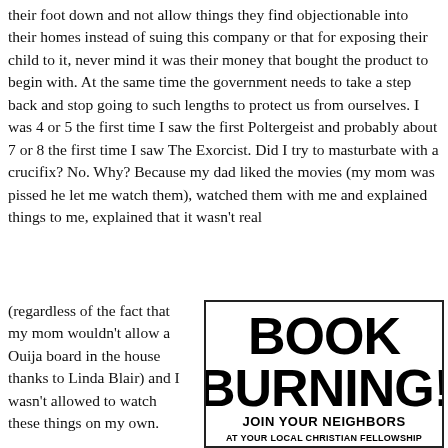their foot down and not allow things they find objectionable into their homes instead of suing this company or that for exposing their child to it, never mind it was their money that bought the product to begin with. At the same time the government needs to take a step back and stop going to such lengths to protect us from ourselves. I was 4 or 5 the first time I saw the first Poltergeist and probably about 7 or 8 the first time I saw The Exorcist. Did I try to masturbate with a crucifix? No. Why? Because my dad liked the movies (my mom was pissed he let me watch them), watched them with me and explained things to me, explained that it wasn't real
(regardless of the fact that my mom wouldn't allow a Ouija board in the house thanks to Linda Blair) and I wasn't allowed to watch these things on my own.

What's the difference between Mario getting the...
[Figure (illustration): Black and white illustration with bold text reading 'BOOK BURNING!' and a crowd of people drawn in a retro style below, with text 'JOIN YOUR NEIGHBORS' at the bottom.]